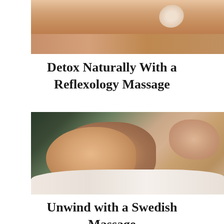[Figure (photo): Close-up photo of a person receiving a massage, showing bare skin and a rolled white towel]
Detox Naturally With a Reflexology Massage
[Figure (photo): Photo of a woman lying face down on a massage table with eyes closed, smiling peacefully, resting her head on a white towel, with a therapist's hands visible on her back]
Unwind with a Swedish Massage